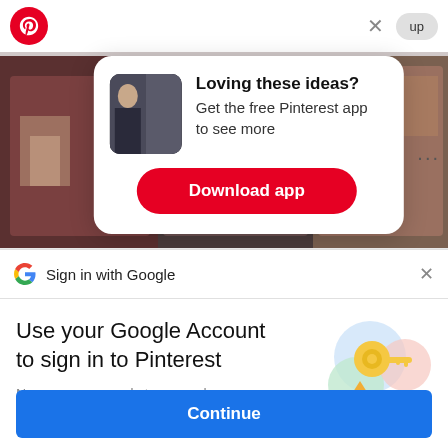[Figure (screenshot): Pinterest app navigation bar with red Pinterest logo on left, X close button and 'up' signup button on right]
[Figure (screenshot): Popup card with thumbnail image of person, text 'Loving these ideas? Get the free Pinterest app to see more' and red Download app button]
Loving these ideas?
Get the free Pinterest app to see more
Download app
[Figure (screenshot): Background masonry images of fashion/interior content]
Sign in with Google
Use your Google Account to sign in to Pinterest
No more passwords to remember.
Signing in is fast, simple and secure.
[Figure (illustration): Google sign-in illustration with colorful key and circles]
Continue